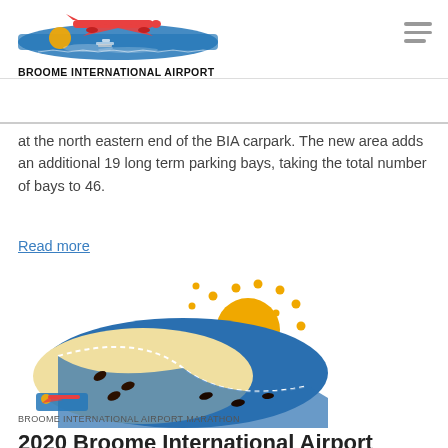[Figure (logo): Broome International Airport logo with airplane and sunset over water in blue and orange]
BROOME INTERNATIONAL AIRPORT
at the north eastern end of the BIA carpark. The new area adds an additional 19 long term parking bays, taking the total number of bays to 46.
Read more
[Figure (logo): Broome International Airport Marathon logo showing footprints on a beach/sand with sun and ocean]
BROOME INTERNATIONAL AIRPORT MARATHON
2020 Broome International Airport